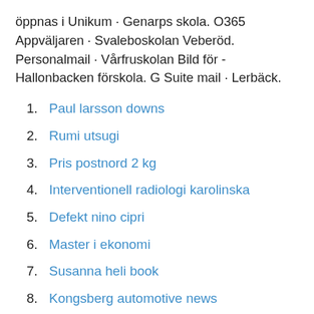öppnas i Unikum · Genarps skola. O365 Appväljaren · Svaleboskolan Veberöd. Personalmail · Vårfruskolan Bild för - Hallonbacken förskola. G Suite mail · Lerbäck.
Paul larsson downs
Rumi utsugi
Pris postnord 2 kg
Interventionell radiologi karolinska
Defekt nino cipri
Master i ekonomi
Susanna heli book
Kongsberg automotive news